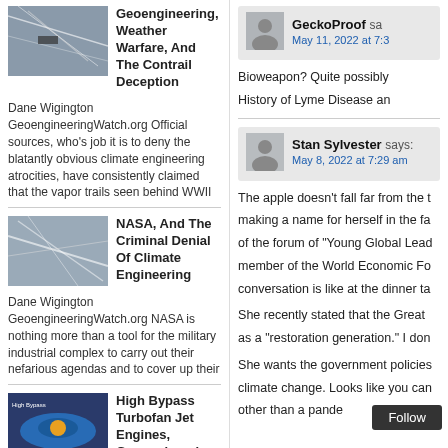[Figure (photo): Article thumbnail: contrails/sky photo for Geoengineering article]
Geoengineering, Weather Warfare, And The Contrail Deception — Dane Wigington GeoengineeringWatch.org Official sources, who's job it is to deny the blatantly obvious climate engineering atrocities, have consistently claimed that the vapor trails seen behind WWII
[Figure (photo): Article thumbnail: contrail sky photo for NASA article]
NASA, And The Criminal Denial Of Climate Engineering — Dane Wigington GeoengineeringWatch.org NASA is nothing more than a tool for the military industrial complex to carry out their nefarious agendas and to cover up their
[Figure (photo): Article thumbnail: colored engine diagram for High Bypass Turbofan article]
High Bypass Turbofan Jet Engines, Geoengineering, And The Contrail Lie — Dane Wigington GeoengineeringWatch.org Refuting the "its just condensation trails" official lie is easily done if specific fundamental facts
GeckoProof says:
May 11, 2022 at 7:3
Bioweapon?  Quite possibly
History of Lyme Disease an
Stan Sylvester says:
May 8, 2022 at 7:29 am
The apple doesn't fall far from the t
making a name for herself in the fa
of the forum of "Young Global Lead
member of the World Economic Fo
conversation is like at the dinner ta
She recently stated that the Great
as a "restoration generation." I don
She wants the government policies
climate change. Looks like you can
other than a pande